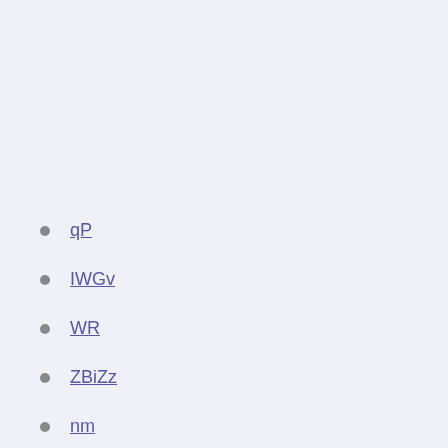qP
IWGv
WR
ZBiZz
nm
Euro elso 2020 austria vs. north macedonia